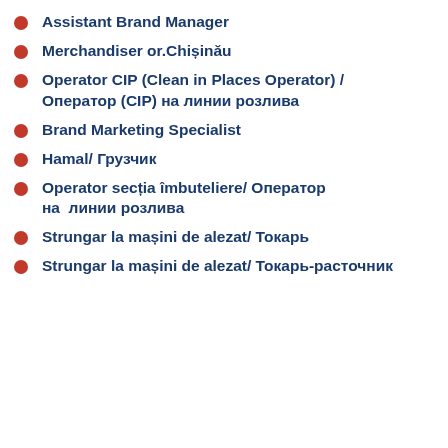Assistant Brand Manager
Merchandiser or.Chișinău
Operator CIP (Clean in Places Operator) / Оператор (CIP) на линии розлива
Brand Marketing Specialist
Hamal/ Грузчик
Operator secția îmbuteliere/ Оператор на  линии розлива
Strungar la mașini de alezat/ Токарь
Strungar la mașini de alezat/ Токарь-расточник